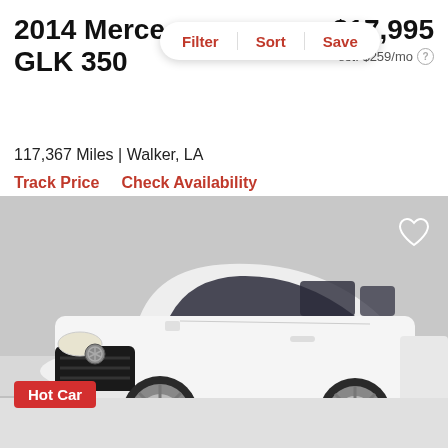2014 Mercedes-Benz GLK 350
$17,995
est. $259/mo
Filter | Sort | Save
117,367 Miles | Walker, LA
Track Price    Check Availability
[Figure (photo): White 2014 Mercedes-Benz GLK 350 SUV photographed in a showroom, three-quarter front view, with a red 'Hot Car' badge in the lower left corner and a heart/favorite icon in the upper right.]
Hot Car